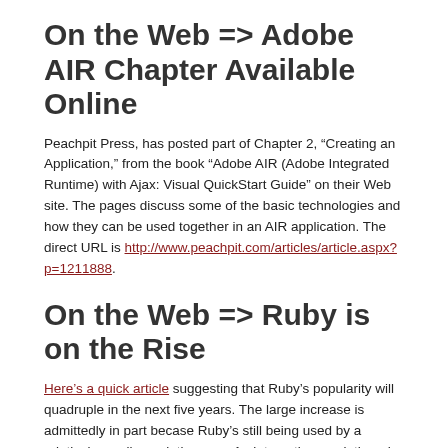On the Web => Adobe AIR Chapter Available Online
Peachpit Press, has posted part of Chapter 2, “Creating an Application,” from the book “Adobe AIR (Adobe Integrated Runtime) with Ajax: Visual QuickStart Guide” on their Web site. The pages discuss some of the basic technologies and how they can be used together in an AIR application. The direct URL is http://www.peachpit.com/articles/article.aspx?p=1211888.
On the Web => Ruby is on the Rise
Here’s a quick article suggesting that Ruby’s popularity will quadruple in the next five years. The large increase is admittedly in part becase Ruby’s still being used by a relatively small population now. An interesting read, though.
On the Web => Ruby on Rails Screencasts